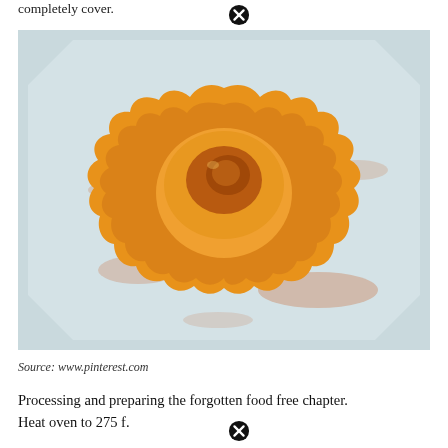completely cover.
[Figure (photo): A golden-brown baked egg custard tart or flan in a scalloped golden pastry shell, served on a white ceramic plate dusted with cinnamon powder. Shot from above.]
Source: www.pinterest.com
Processing and preparing the forgotten food free chapter.
Heat oven to 275 f.